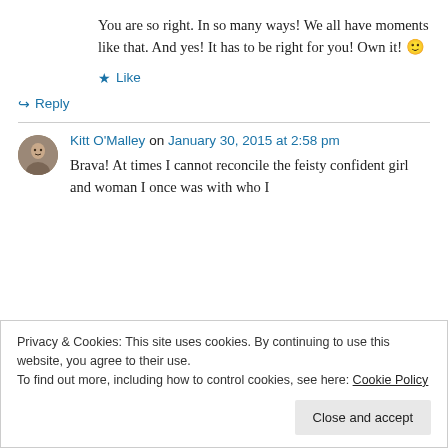You are so right. In so many ways! We all have moments like that. And yes! It has to be right for you! Own it! 🙂
★ Like
↪ Reply
Kitt O'Malley on January 30, 2015 at 2:58 pm
Brava! At times I cannot reconcile the feisty confident girl and woman I once was with who I
Privacy & Cookies: This site uses cookies. By continuing to use this website, you agree to their use.
To find out more, including how to control cookies, see here: Cookie Policy
Close and accept
easy.